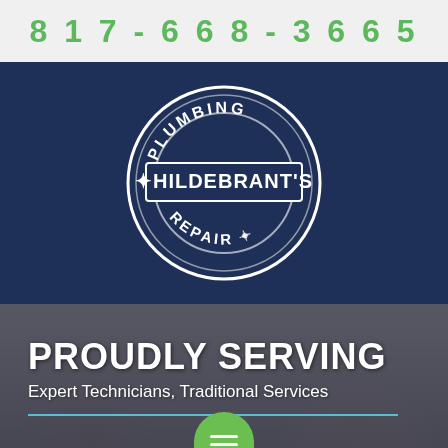817-668-3665
[Figure (logo): Hildebrant's Plumbing Repair circular logo with navy blue background, white circular border, white arc text PLUMBING at top and REPAIR at bottom, rectangular banner with HILDEBRANT'S in center]
PROUDLY SERVING
Expert Technicians, Traditional Services